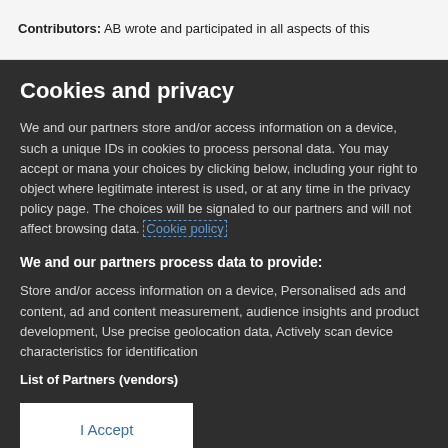Contributors:  AB wrote and participated in all aspects of this
Cookies and privacy
We and our partners store and/or access information on a device, such as unique IDs in cookies to process personal data. You may accept or manage your choices by clicking below, including your right to object where legitimate interest is used, or at any time in the privacy policy page. These choices will be signaled to our partners and will not affect browsing data. Cookie policy
We and our partners process data to provide:
Store and/or access information on a device, Personalised ads and content, ad and content measurement, audience insights and product development, Use precise geolocation data, Actively scan device characteristics for identification
List of Partners (vendors)
I Accept